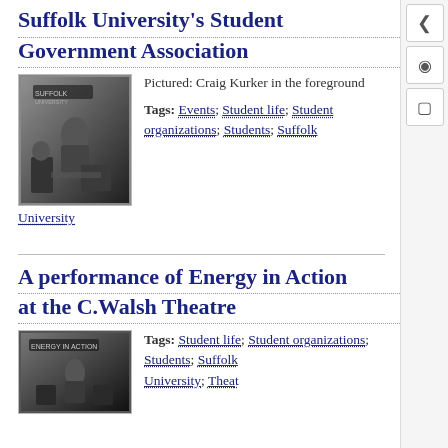Suffolk University's Student Government Association
[Figure (photo): Black and white photo of Craig Kurker in the foreground at a student government event]
Pictured: Craig Kurker in the foreground
Tags: Events; Student life; Student organizations; Students; Suffolk University
A performance of Energy in Action at the C.Walsh Theatre
[Figure (photo): Black and white photo of a performance at the C.Walsh Theatre with Energy in Action signage]
Tags: Student life; Student organizations; Students; Suffolk University; Theatre